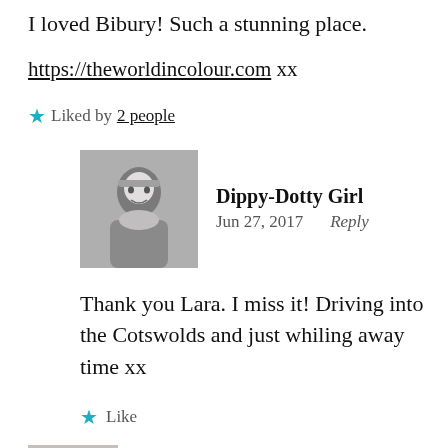I loved Bibury! Such a stunning place.
https://theworldincolour.com xx
★ Liked by 2 people
Dippy-Dotty Girl
Jun 27, 2017   Reply
Thank you Lara. I miss it! Driving into the Cotswolds and just whiling away time xx
★ Like
Klausbornd